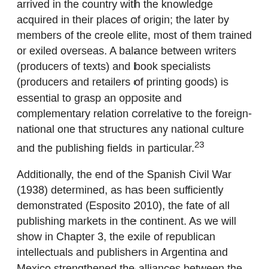arrived in the country with the knowledge acquired in their places of origin; the later by members of the creole elite, most of them trained or exiled overseas. A balance between writers (producers of texts) and book specialists (producers and retailers of printing goods) is essential to grasp an opposite and complementary relation correlative to the foreign-national one that structures any national culture and the publishing fields in particular.23
Additionally, the end of the Spanish Civil War (1938) determined, as has been sufficiently demonstrated (Esposito 2010), the fate of all publishing markets in the continent. As we will show in Chapter 3, the exile of republican intellectuals and publishers in Argentina and Mexico strengthened the alliances between the agents and companies of these markets at a time when Argentina already had a differentiated cultural space and became, mostly due to the standstill in Spain, the main Spanish-language publishing centre.24 From the 1940s, the